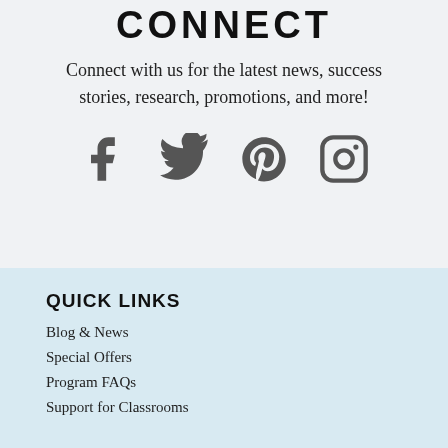CONNECT
Connect with us for the latest news, success stories, research, promotions, and more!
[Figure (illustration): Social media icons: Facebook, Twitter, Pinterest, Instagram]
QUICK LINKS
Blog & News
Special Offers
Program FAQs
Support for Classrooms